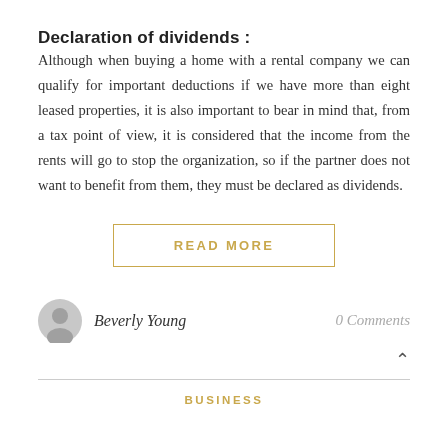Declaration of dividends :
Although when buying a home with a rental company we can qualify for important deductions if we have more than eight leased properties, it is also important to bear in mind that, from a tax point of view, it is considered that the income from the rents will go to stop the organization, so if the partner does not want to benefit from them, they must be declared as dividends.
READ MORE
Beverly Young
0 Comments
BUSINESS